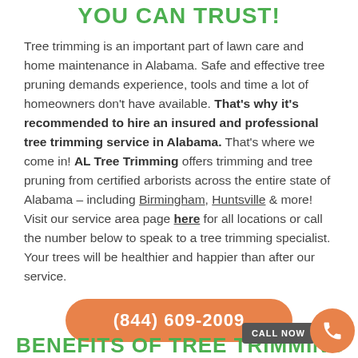YOU CAN TRUST!
Tree trimming is an important part of lawn care and home maintenance in Alabama. Safe and effective tree pruning demands experience, tools and time a lot of homeowners don't have available. That's why it's recommended to hire an insured and professional tree trimming service in Alabama. That's where we come in! AL Tree Trimming offers trimming and tree pruning from certified arborists across the entire state of Alabama – including Birmingham, Huntsville & more! Visit our service area page here for all locations or call the number below to speak to a tree trimming specialist. Your trees will be healthier and happier than after our service.
(844) 609-2009
BENEFITS OF TREE TRIMMING